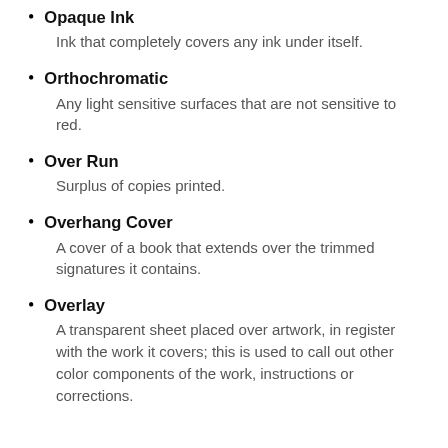Opaque Ink — Ink that completely covers any ink under itself.
Orthochromatic — Any light sensitive surfaces that are not sensitive to red.
Over Run — Surplus of copies printed.
Overhang Cover — A cover of a book that extends over the trimmed signatures it contains.
Overlay — A transparent sheet placed over artwork, in register with the work it covers; this is used to call out other color components of the work, instructions or corrections.